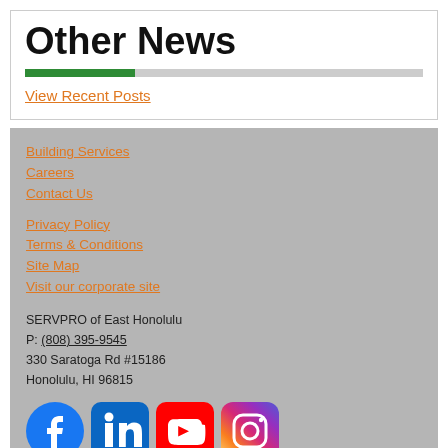Other News
View Recent Posts
Building Services
Careers
Contact Us
Privacy Policy
Terms & Conditions
Site Map
Visit our corporate site
SERVPRO of East Honolulu
P: (808) 395-9545
330 Saratoga Rd #15186
Honolulu, HI 96815
[Figure (logo): Social media icons: Facebook, LinkedIn, YouTube, Instagram]
© Servpro Industries, LLC. – All services in the U.S. performed by independently owned and operated franchises of Servpro Industries, LLC.
© Servpro Industries (Canada) ULC – All services in Canada performed by independently owned and operated franchises of Servpro Industries (Canada) ULC.